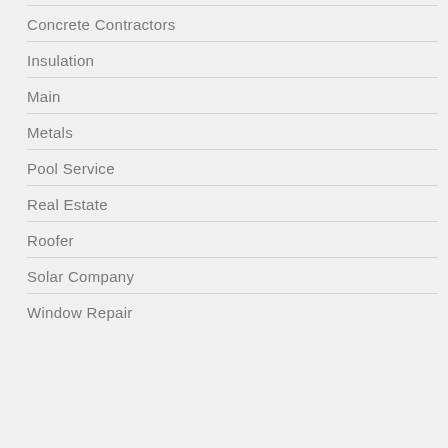Concrete Contractors
Insulation
Main
Metals
Pool Service
Real Estate
Roofer
Solar Company
Window Repair